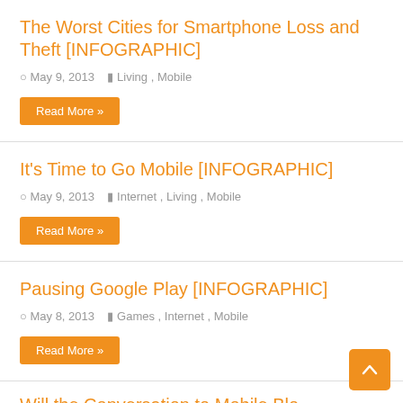The Worst Cities for Smartphone Loss and Theft [INFOGRAPHIC]
May 9, 2013   Living, Mobile
Read More »
It's Time to Go Mobile [INFOGRAPHIC]
May 9, 2013   Internet, Living, Mobile
Read More »
Pausing Google Play [INFOGRAPHIC]
May 8, 2013   Games, Internet, Mobile
Read More »
Will the Conversation to Mobile Blo...